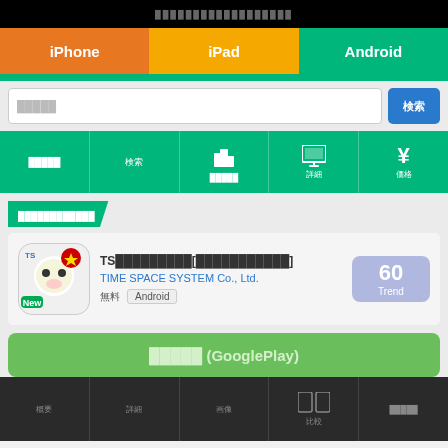██████████████████
iPhone | iPad | Android
█████ [search box] 検索
████ / 検索 / █████ / 詳細 / 価格
████████████
TS█████████[███████████]
TIME SPACE SYSTEM Co., Ltd.
無料  Android  60 Trend
█████ (GooglePlay)
概要 / 詳細 / 画像 / 比較 / █████
███████████████████████████████ (詳細)
[Figure (screenshot): Two app screenshots at bottom of page showing Vietnamese language learning game]